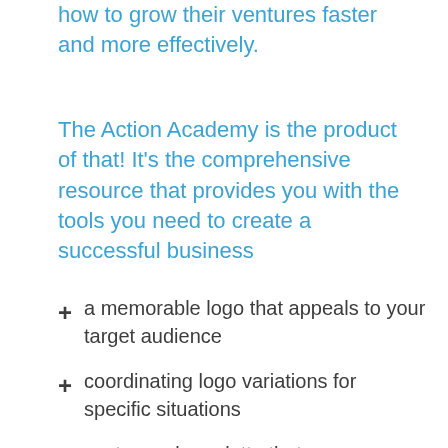how to grow their ventures faster and more effectively.
The Action Academy is the product of that! It's the comprehensive resource that provides you with the tools you need to create a successful business
a memorable logo that appeals to your target audience
coordinating logo variations for specific situations
custom color palette that